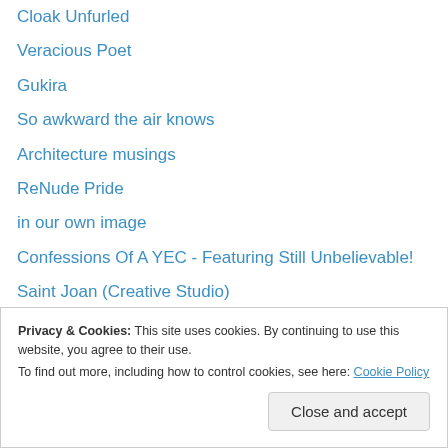Cloak Unfurled
Veracious Poet
Gukira
So awkward the air knows
Architecture musings
ReNude Pride
in our own image
Confessions Of A YEC - Featuring Still Unbelievable!
Saint Joan (Creative Studio)
Dead Wild Roses
The Great Conversation
Privacy & Cookies: This site uses cookies. By continuing to use this website, you agree to their use. To find out more, including how to control cookies, see here: Cookie Policy
Close and accept